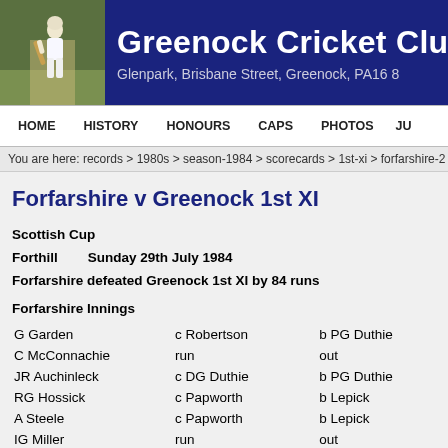Greenock Cricket Club — Glenpark, Brisbane Street, Greenock, PA16 8
HOME  HISTORY  HONOURS  CAPS  PHOTOS  JU
You are here: records > 1980s > season-1984 > scorecards > 1st-xi > forfarshire-2
Forfarshire v Greenock 1st XI
Scottish Cup
Forthill      Sunday 29th July 1984
Forfarshire defeated Greenock 1st XI by 84 runs
Forfarshire Innings
| Batsman | Dismissal | Bowler |
| --- | --- | --- |
| G Garden | c Robertson | b PG Duthie |
| C McConnachie | run | out |
| JR Auchinleck | c DG Duthie | b PG Duthie |
| RG Hossick | c Papworth | b Lepick |
| A Steele | c Papworth | b Lepick |
| IG Miller | run | out |
| BDM Dyer |  | b Lepick |